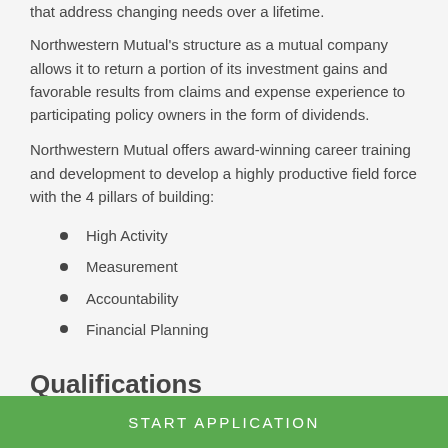that address changing needs over a lifetime.
Northwestern Mutual's structure as a mutual company allows it to return a portion of its investment gains and favorable results from claims and expense experience to participating policy owners in the form of dividends.
Northwestern Mutual offers award-winning career training and development to develop a highly productive field force with the 4 pillars of building:
High Activity
Measurement
Accountability
Financial Planning
Qualifications
START APPLICATION